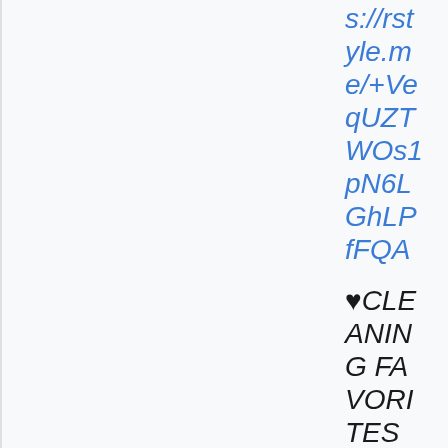s://rstyle.me/+VeqUZTWOs1pN6LGhLPfFQA
♥CLEANING FAVORITES ♥ JAWS CLEANERS (use c